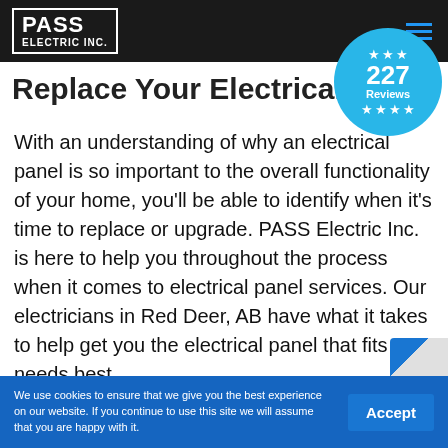[Figure (logo): PASS ELECTRIC INC. logo in white text with border on dark navigation bar]
[Figure (infographic): Circular blue badge showing '227 Reviews' with star decorations]
Replace Your Electrical Pa...
With an understanding of why an electrical panel is so important to the overall functionality of your home, you'll be able to identify when it's time to replace or upgrade. PASS Electric Inc. is here to help you throughout the process when it comes to electrical panel services. Our electricians in Red Deer, AB have what it takes to help get you the electrical panel that fits your needs best.
We use cookies to ensure that we give you the best experience on our website. If you continue to use this site we will assume that you are happy with it.